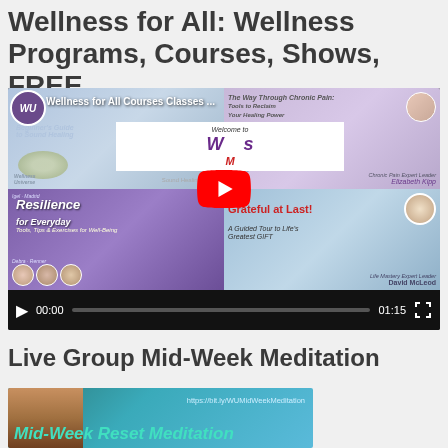Wellness for All: Wellness Programs, Courses, Shows, FREE
[Figure (screenshot): YouTube video thumbnail for 'Wellness for All Courses Classes...' showing a grid of wellness course promotional images including Sound Healing, The Way Through Chronic Pain, Resilience for Everyday, and Grateful at Last by David McLeod. Shows YouTube play button overlay and video controls bar with time 00:00 / 01:15.]
Live Group Mid-Week Meditation
[Figure (screenshot): Partial thumbnail image showing 'Mid-Week Reset Meditation' with URL https://bit.ly/WUMidWeekMeditation, teal/turquoise color scheme with people silhouettes at bottom.]